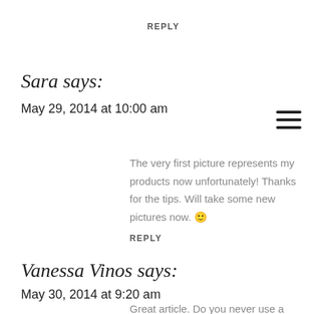REPLY
Sara says:
May 29, 2014 at 10:00 am
The very first picture represents my products now unfortunately! Thanks for the tips. Will take some new pictures now. 🙂
REPLY
Vanessa Vinos says:
May 30, 2014 at 9:20 am
Great article. Do you never use a light box? I've been